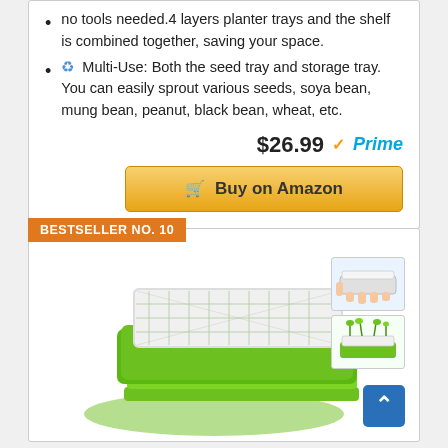no tools needed.4 layers planter trays and the shelf is combined together, saving your space.
♻ Multi-Use: Both the seed tray and storage tray. You can easily sprout various seeds, soya bean, mung bean, peanut, black bean, wheat, etc.
$26.99 ✓Prime
🛒 Buy on Amazon
BESTSELLER NO. 10
[Figure (photo): Product photo of a green seed sprouter tray with a white mesh tray on top, and stacked green trays below, plus a thumbnail inset showing hands using the tray.]